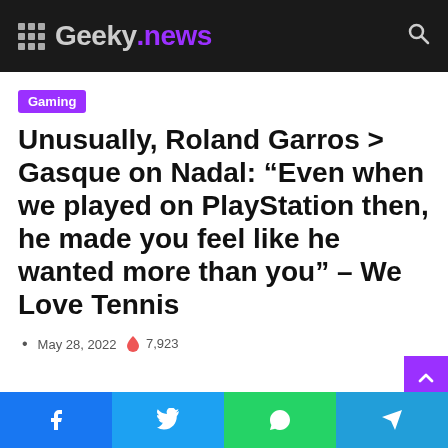Geeky.news
Gaming
Unusually, Roland Garros > Gasque on Nadal: “Even when we played on PlayStation then, he made you feel like he wanted more than you” – We Love Tennis
May 28, 2022  7,923
Facebook Twitter WhatsApp Telegram